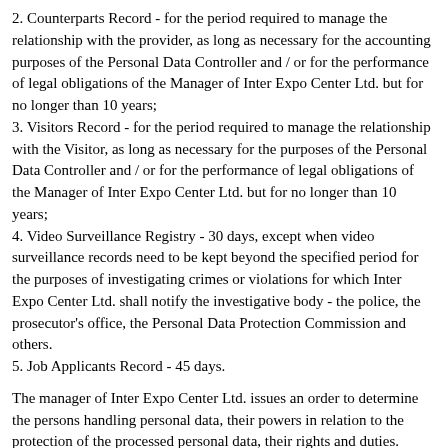2. Counterparts Record - for the period required to manage the relationship with the provider, as long as necessary for the accounting purposes of the Personal Data Controller and / or for the performance of legal obligations of the Manager of Inter Expo Center Ltd. but for no longer than 10 years;
3. Visitors Record - for the period required to manage the relationship with the Visitor, as long as necessary for the purposes of the Personal Data Controller and / or for the performance of legal obligations of the Manager of Inter Expo Center Ltd. but for no longer than 10 years;
4. Video Surveillance Registry - 30 days, except when video surveillance records need to be kept beyond the specified period for the purposes of investigating crimes or violations for which Inter Expo Center Ltd. shall notify the investigative body - the police, the prosecutor's office, the Personal Data Protection Commission and others.
5. Job Applicants Record - 45 days.
The manager of Inter Expo Center Ltd. issues an order to determine the persons handling personal data, their powers in relation to the protection of the processed personal data, their rights and duties.
The manager of Inter Expo Center Ltd. and / or the persons authorized by him shall have the following powers: